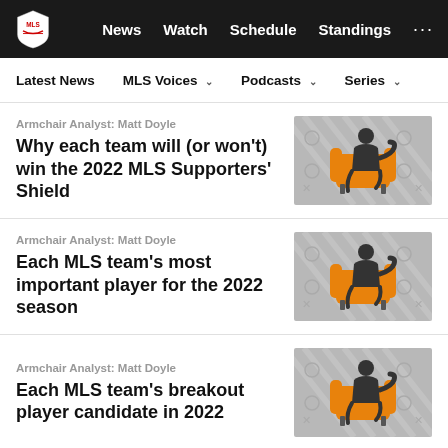MLS | News | Watch | Schedule | Standings
Latest News | MLS Voices | Podcasts | Series
Armchair Analyst: Matt Doyle — Why each team will (or won't) win the 2022 MLS Supporters' Shield
[Figure (illustration): Armchair Analyst logo: silhouette of a person sitting in an orange armchair on a grey tactical board background]
Armchair Analyst: Matt Doyle — Each MLS team's most important player for the 2022 season
[Figure (illustration): Armchair Analyst logo: silhouette of a person sitting in an orange armchair on a grey tactical board background]
Armchair Analyst: Matt Doyle — Each MLS team's breakout player candidate in 2022
[Figure (illustration): Armchair Analyst logo: silhouette of a person sitting in an orange armchair on a grey tactical board background]